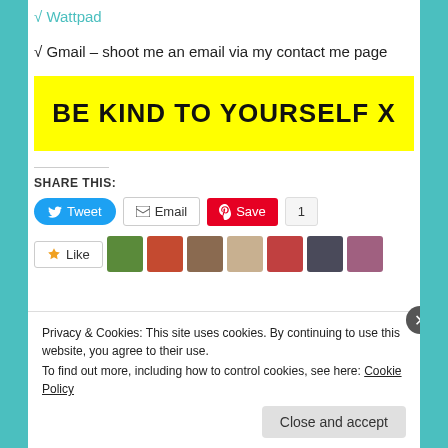√ Wattpad
√ Gmail – shoot me an email via my contact me page
[Figure (other): Yellow banner with bold text reading BE KIND TO YOURSELF X]
SHARE THIS:
Tweet | Email | Save | 1
Like | [user avatars]
Privacy & Cookies: This site uses cookies. By continuing to use this website, you agree to their use.
To find out more, including how to control cookies, see here: Cookie Policy
Close and accept